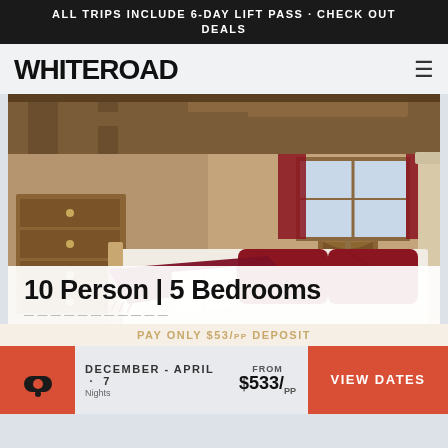ALL TRIPS INCLUDE 6-DAY LIFT PASS · CHECK OUT DEALS
[Figure (logo): WHITEROAD logo with hamburger menu icon]
[Figure (photo): Chalet bedroom with wooden beam ceiling, red curtains, dresser, and a double bed with red pillows and burgundy throw blanket]
10 Person | 5 Bedrooms
PAY ONLY $53/pp DEPOSIT
DECEMBER - APRIL · 7
FROM $533/pp
VIEW DATES